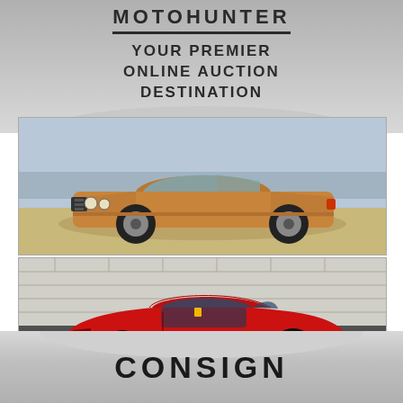MOTOHUNTER
YOUR PREMIER ONLINE AUCTION DESTINATION
[Figure (photo): Classic 1970s bronze/gold muscle car (Pontiac GTO) parked on gravel with city skyline in background]
[Figure (photo): Red Ferrari 360 Modena sports car parked on asphalt in front of a stone/brick wall]
CONSIGN